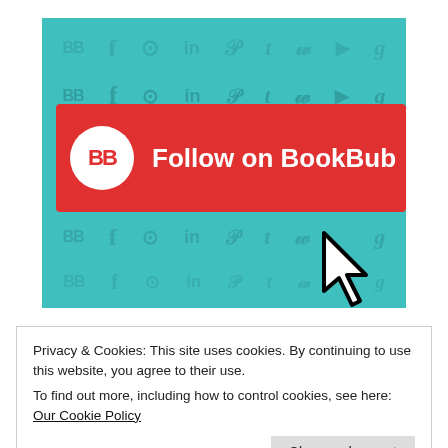[Figure (infographic): BookBub 'Follow on BookBub' banner with teal background showing social media icons (BB, Facebook, Instagram, LinkedIn, Pinterest, Tumblr, Twitter, YouTube, Goodreads) in repeated rows, a red button with white BB circle logo and 'Follow on BookBub' text, and a mouse cursor arrow pointing at the button.]
Privacy & Cookies: This site uses cookies. By continuing to use this website, you agree to their use.
To find out more, including how to control cookies, see here: Our Cookie Policy
Close and accept